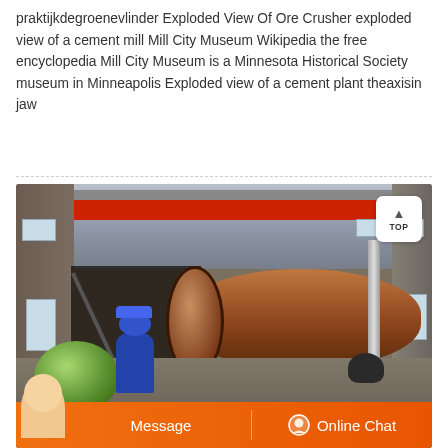praktijkdegroenevlinder Exploded View Of Ore Crusher exploded view of a cement mill Mill City Museum Wikipedia the free encyclopedia Mill City Museum is a Minnesota Historical Society museum in Minneapolis Exploded view of a cement plant theaxisin jaw
[Figure (photo): Industrial interior of a cement mill or ore processing facility. A large red overhead crane beam runs horizontally across the top. A large cylindrical ball mill is visible in the center-right of the image. Workers/people are visible in front of the machine. A green cylindrical object is in the foreground lower left. A 'TOP' badge button is visible in the upper right corner of the image. An orange chat bar with 'Message' and 'Online Chat' buttons and a customer service avatar appears at the bottom.]